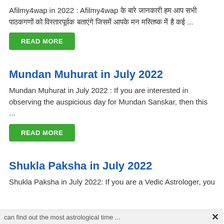Afilmy4wap in 2022 : Afilmy4wap के बारे जानकारी हम आप सभी पाठकगणों को विस्तारपूर्वक बताएंगे जिसमें आपके मन मस्तिष्क में है कई ...
READ MORE
Mundan Muhurat in July 2022
Mundan Muhurat in July 2022 : If you are interested in observing the auspicious day for Mundan Sanskar, then this ...
READ MORE
Shukla Paksha in July 2022
Shukla Paksha in July 2022: If you are a Vedic Astrologer, you can find out the most astrological time ...